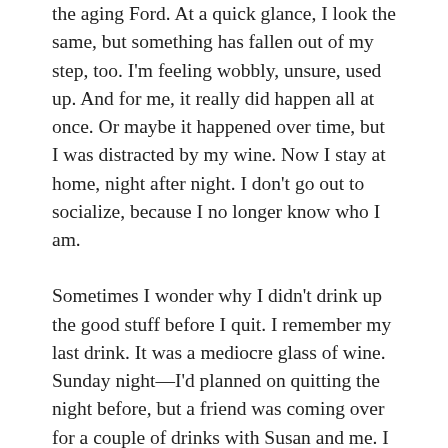the aging Ford. At a quick glance, I look the same, but something has fallen out of my step, too. I'm feeling wobbly, unsure, used up. And for me, it really did happen all at once. Or maybe it happened over time, but I was distracted by my wine. Now I stay at home, night after night. I don't go out to socialize, because I no longer know who I am.
Sometimes I wonder why I didn't drink up the good stuff before I quit. I remember my last drink. It was a mediocre glass of wine. Sunday night—I'd planned on quitting the night before, but a friend was coming over for a couple of drinks with Susan and me. I didn't want to let her down. I finished the last open bottle of red—something I bought because it was cheap. It wasn't even enjoyable. I should have opened the Cline Zinfandel. But I knew I wouldn't finish it, so it would get poured out, thrown